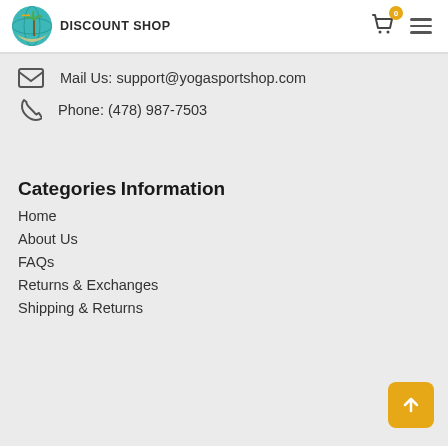DISCOUNT SHOP
Mail Us: support@yogasportshop.com
Phone: (478) 987-7503
Categories
Information
Home
About Us
FAQs
Returns & Exchanges
Shipping & Returns